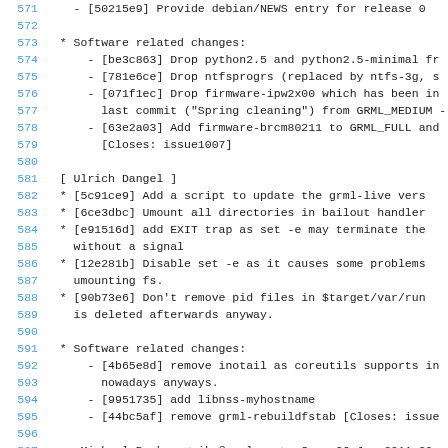Source code / changelog view, lines 571-597
571     - [50215e9] Provide debian/NEWS entry for release 0
572
573   * Software related changes:
574       - [be3c863] Drop python2.5 and python2.5-minimal fr
575       - [781e6ce] Drop ntfsprogrs (replaced by ntfs-3g, s
576       - [071f1ec] Drop firmware-ipw2x00 which has been in
577         last commit ("Spring cleaning") from GRML_MEDIUM -
578       - [63e2a03] Add firmware-brcm80211 to GRML_FULL and
579         [Closes: issue1007]
580
581   [ Ulrich Dangel ]
582   * [5c91ce9] Add a script to update the grml-live vers
583   * [6ce3dbc] Umount all directories in bailout handler
584   * [e91516d] add EXIT trap as set -e may terminate the
585     without a signal
586   * [12e281b] Disable set -e as it causes some problems
587     umounting fs.
588   * [90b73e6] Don't remove pid files in $target/var/run
589     is deleted afterwards anyway.
590
591   * Software related changes:
592       - [4b65e8d] remove inotail as coreutils supports in
593         nowadays anyways.
594       - [9951735] add libnss-myhostname
595       - [44bc5af] remove grml-rebuildfstab [Closes: issue
596
597   -- Michael Prokop <mika@grml.org>  Sun, 26 Jun 2011 20